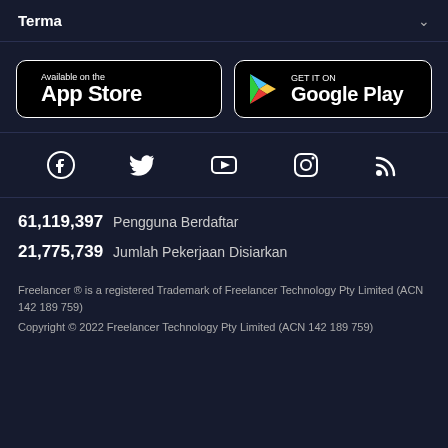Terma
[Figure (other): App Store and Google Play store download buttons]
[Figure (other): Social media icons: Facebook, Twitter, YouTube, Instagram, RSS]
61,119,397  Pengguna Berdaftar
21,775,739  Jumlah Pekerjaan Disiarkan
Freelancer ® is a registered Trademark of Freelancer Technology Pty Limited (ACN 142 189 759)
Copyright © 2022 Freelancer Technology Pty Limited (ACN 142 189 759)